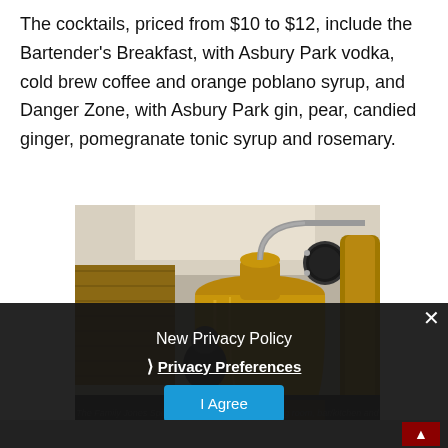The cocktails, priced from $10 to $12, include the Bartender's Breakfast, with Asbury Park vodka, cold brew coffee and orange poblano syrup, and Danger Zone, with Asbury Park gin, pear, candied ginger, pomegranate tonic syrup and rosemary.
[Figure (photo): Interior photo of distillery showing large shiny brass/copper pot stills with a person visible in the background]
The Family Jones Spirit House has a distillery, tasting room, bar/kitchen and hotel, opened in November.